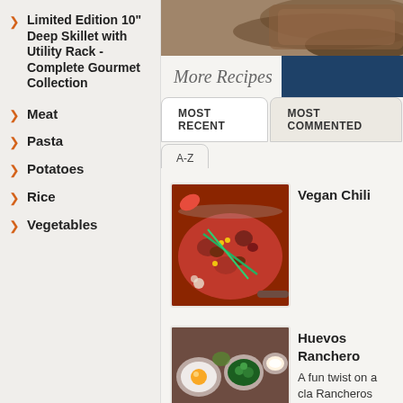Limited Edition 10" Deep Skillet with Utility Rack - Complete Gourmet Collection
Meat
Pasta
Potatoes
Rice
Vegetables
[Figure (photo): Top image strip showing baked bread or food item]
More Recipes
MOST RECENT
MOST COMMENTED
A-Z
[Figure (photo): Photo of Vegan Chili - a pan filled with red chili, kidney beans, corn, and green onions]
Vegan Chili
[Figure (photo): Photo of Huevos Rancheros dish with eggs and toppings in bowls]
Huevos Ranchero
A fun twist on a cla Rancheros Boats a